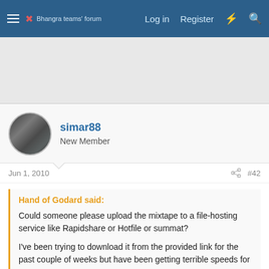Bhangra teams' forum — Log in  Register
[Figure (other): Advertisement/banner area (gray placeholder)]
simar88
New Member
Jun 1, 2010  #42
Hand of Godard said:
Could someone please upload the mixtape to a file-hosting service like Rapidshare or Hotfile or summat?

I've been trying to download it from the provided link for the past couple of weeks but have been getting terrible speeds for some reason.